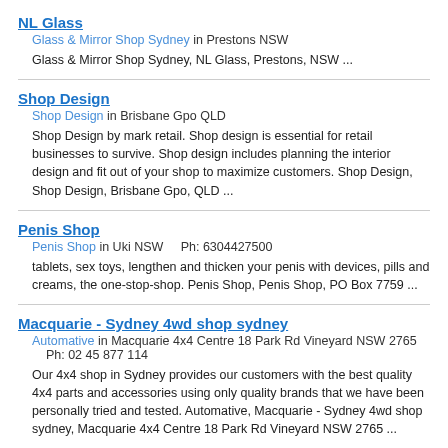NL Glass
Glass & Mirror Shop Sydney in Prestons NSW
Glass & Mirror Shop Sydney, NL Glass, Prestons, NSW ...
Shop Design
Shop Design in Brisbane Gpo QLD
Shop Design by mark retail. Shop design is essential for retail businesses to survive. Shop design includes planning the interior design and fit out of your shop to maximize customers. Shop Design, Shop Design, Brisbane Gpo, QLD ...
Penis Shop
Penis Shop in Uki NSW    Ph: 6304427500
tablets, sex toys, lengthen and thicken your penis with devices, pills and creams, the one-stop-shop. Penis Shop, Penis Shop, PO Box 7759 ...
Macquarie - Sydney 4wd shop sydney
Automative in Macquarie 4x4 Centre 18 Park Rd Vineyard NSW 2765    Ph: 02 45 877 114
Our 4x4 shop in Sydney provides our customers with the best quality 4x4 parts and accessories using only quality brands that we have been personally tried and tested. Automative, Macquarie - Sydney 4wd shop sydney, Macquarie 4x4 Centre 18 Park Rd Vineyard NSW 2765 ...